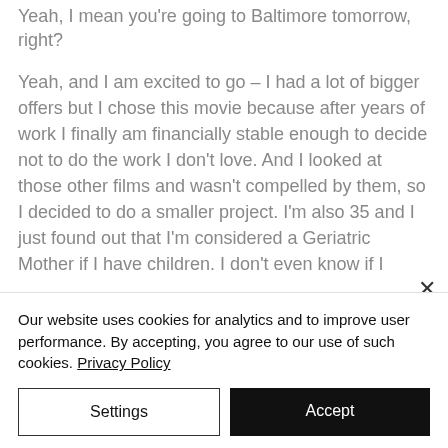Yeah, I mean you're going to Baltimore tomorrow, right?
Yeah, and I am excited to go – I had a lot of bigger offers but I chose this movie because after years of work I finally am financially stable enough to decide not to do the work I don't love.  And I looked at those other films and wasn't compelled by them, so I decided to do a smaller project. I'm also 35 and I just found out that I'm considered a Geriatric Mother if I have children.  I don't even know if I
Our website uses cookies for analytics and to improve user performance. By accepting, you agree to our use of such cookies. Privacy Policy
Settings
Accept